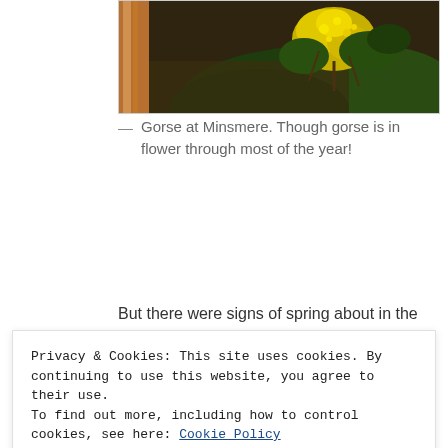[Figure (photo): Photo of gorse with yellow flowers at Minsmere, with a wooden post on the left and dark green foliage background]
— Gorse at Minsmere. Though gorse is in flower through most of the year!
But there were signs of spring about in the autumn
Privacy & Cookies: This site uses cookies. By continuing to use this website, you agree to their use.
To find out more, including how to control cookies, see here: Cookie Policy
[Figure (photo): Partial photo visible at the bottom of the page, showing green plant material]